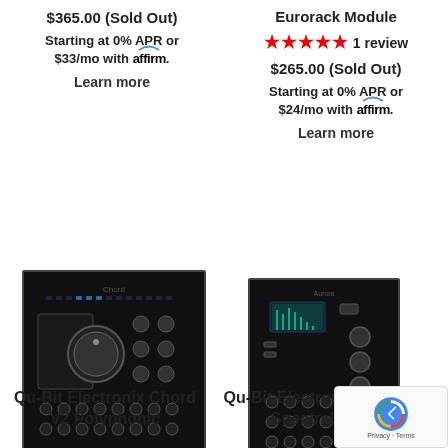$365.00 (Sold Out)
Starting at 0% APR or $33/mo with affirm. Learn more
Eurorack Module
★★★★★ 1 review
$265.00 (Sold Out)
Starting at 0% APR or $24/mo with affirm. Learn more
[Figure (photo): Qu-Bit Electronix Chord V2 Polyphonic Eurorack module with black faceplate, knobs, and patch points]
[Figure (photo): Qu-Bit Electronix Aurora Spectral Eurorack module with black faceplate, display, knobs, and patch points]
Qu-Bit Electronix Chord V2 Polyphonic
Qu-Bit Electronix Aurora Spectral R...